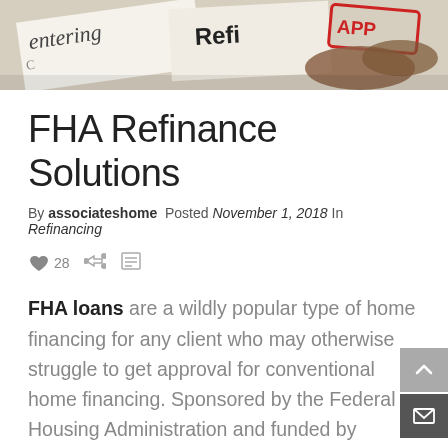[Figure (photo): Photo banner showing document papers with text 'entering', 'Refi' and a red 'APPROVED' stamp, with a gavel in the background]
FHA Refinance Solutions
By associateshome  Posted  November 1, 2018  In  Refinancing
♥ 28
FHA loans are a wildly popular type of home financing for any client who may otherwise struggle to get approval for conventional home financing. Sponsored by the Federal Housing Administration and funded by private lenders, these loans provide a pathway to financing with easy qualifying requirements and fair rates and